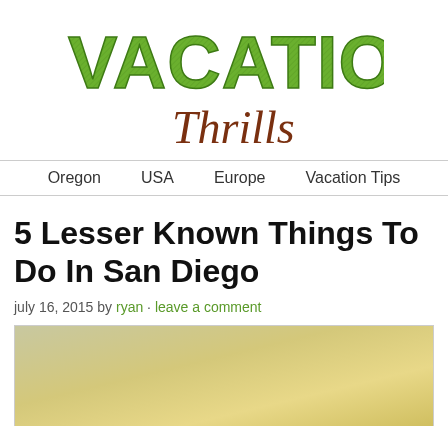[Figure (logo): Vacation Thrills blog logo with large hatched green text 'VACATION' and brown italic cursive 'Thrills' below]
Oregon   USA   Europe   Vacation Tips
5 Lesser Known Things To Do In San Diego
july 16, 2015 by ryan · leave a comment
[Figure (photo): Partial view of a sandy/golden hued landscape photo, beginning to load at the bottom of the page]